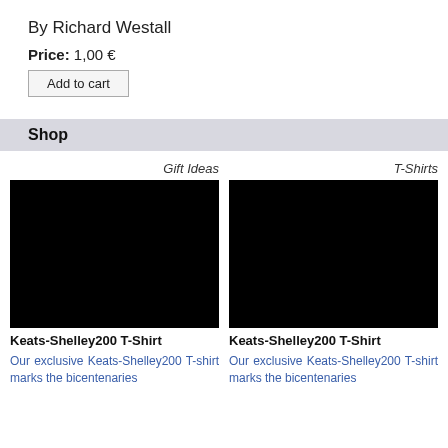By Richard Westall
Price: 1,00 €
Add to cart
Shop
Gift Ideas
[Figure (photo): Black image placeholder for Keats-Shelley200 T-Shirt product (left column)]
Keats-Shelley200 T-Shirt
Our exclusive Keats-Shelley200 T-shirt marks the bicentenaries
T-Shirts
[Figure (photo): Black image placeholder for Keats-Shelley200 T-Shirt product (right column)]
Keats-Shelley200 T-Shirt
Our exclusive Keats-Shelley200 T-shirt marks the bicentenaries